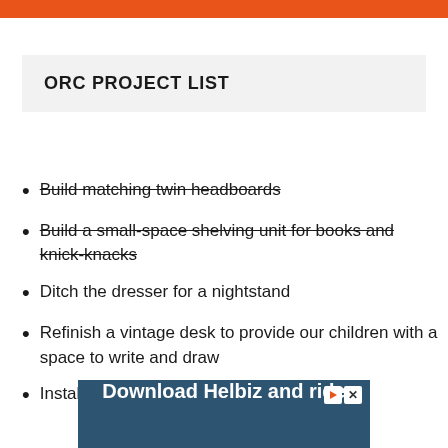ORC PROJECT LIST
Build matching twin headboards (strikethrough)
Build a small-space shelving unit for books and knick-knacks (strikethrough)
Ditch the dresser for a nightstand
Refinish a vintage desk to provide our children with a space to write and draw
Install custom closet shelving
[Figure (screenshot): Advertisement banner: Download Helbiz and ride, showing a scooter/bicycle handlebar image with play and close icons]